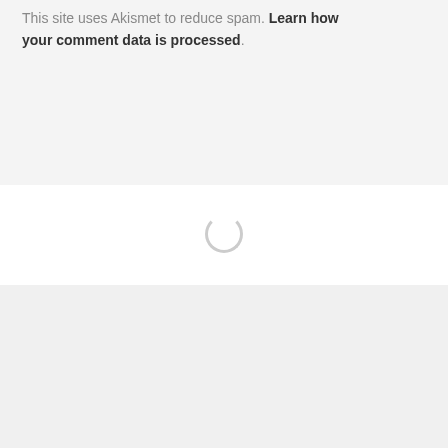This site uses Akismet to reduce spam. Learn how your comment data is processed.
[Figure (other): Loading spinner circle graphic in the middle of the page]
SEE MORE OF WHAT LIZZY LOVES ON INSTAGRAM
This site uses functional cookies and external scripts to improve your experience.
More information   Accept